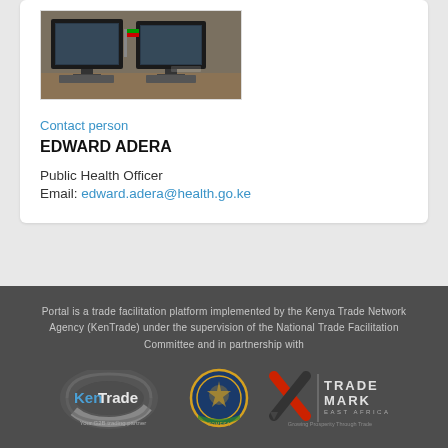[Figure (photo): Photo of a computer workstation with monitors, keyboard and a small flag in the background]
Contact person
EDWARD ADERA
Public Health Officer
Email: edward.adera@health.go.ke
Portal is a trade facilitation platform implemented by the Kenya Trade Network Agency (KenTrade) under the supervision of the National Trade Facilitation Committee and in partnership with
[Figure (logo): KenTrade logo with text 'Your G2B trading partner']
[Figure (logo): COMESA/EAC circular emblem logo]
[Figure (logo): TradeMark East Africa logo with text 'Growing Prosperity Through Trade']